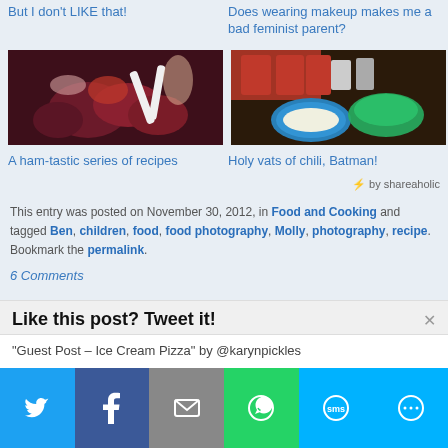But I don't LIKE that!
Does wearing makeup make me a bad feminist parent?
[Figure (photo): Photo of beet salad dish with red/purple beets and white utensils]
[Figure (photo): Photo of cooking ingredients including canned tomatoes, blue bowl with onions, and green peppers]
A ham-tastic series of recipes
Holy vats of chili, Batman!
⚡ by shareaholic
This entry was posted on November 30, 2012, in Food and Cooking and tagged Ben, children, food, food photography, Molly, photography, recipe. Bookmark the permalink.
6 Comments
Like this post? Tweet it!
"Guest Post – Ice Cream Pizza" by @karynpickles